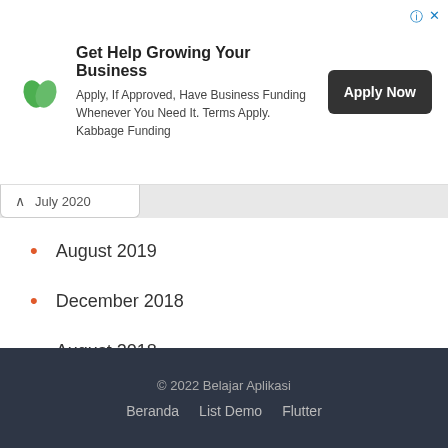[Figure (other): Advertisement banner for Kabbage Funding: logo (green leaf), headline 'Get Help Growing Your Business', subtext 'Apply, If Approved, Have Business Funding Whenever You Need It. Terms Apply. Kabbage Funding', and an 'Apply Now' dark button.]
July 2020 (partially visible, collapsed)
August 2019
December 2018
August 2018
July 2018
June 2018
© 2022 Belajar Aplikasi   Beranda   List Demo   Flutter